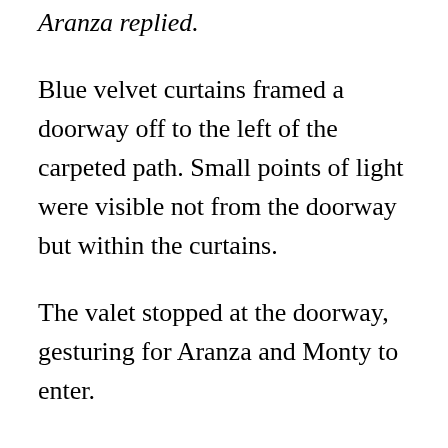Aranza replied.
Blue velvet curtains framed a doorway off to the left of the carpeted path. Small points of light were visible not from the doorway but within the curtains.
The valet stopped at the doorway, gesturing for Aranza and Monty to enter.
The room was larger than it looked from outside, a well-cushioned seat winding along the outside wall. A large, round table floated in the room’s center.
“The Broker,” Aranza said spotting the man sitting